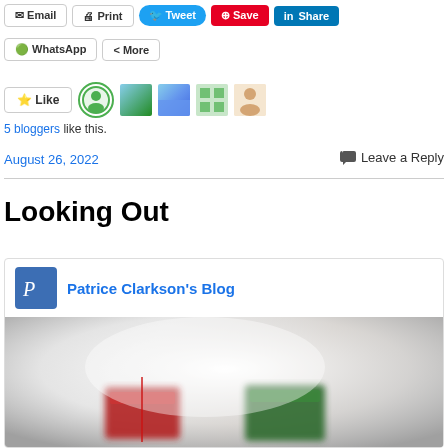[Figure (screenshot): Social share buttons row 1: Email, Print, Tweet, Save, Share]
[Figure (screenshot): Social share buttons row 2: WhatsApp, More]
[Figure (screenshot): Like button with 5 blogger avatars]
5 bloggers like this.
August 26, 2022
Leave a Reply
Looking Out
[Figure (screenshot): Blog card for Patrice Clarkson's Blog with logo and photo of crocheted gift boxes]